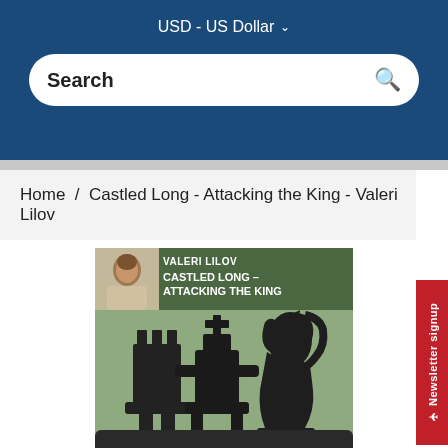USD - US Dollar
Search
Home / Castled Long - Attacking the King - Valeri Lilov
[Figure (illustration): Book cover for 'Castled Long - Attacking the King' by Valeri Lilov, showing chess pieces (rook, king, knight) silhouettes on a green background with author photo]
Newsletter signup